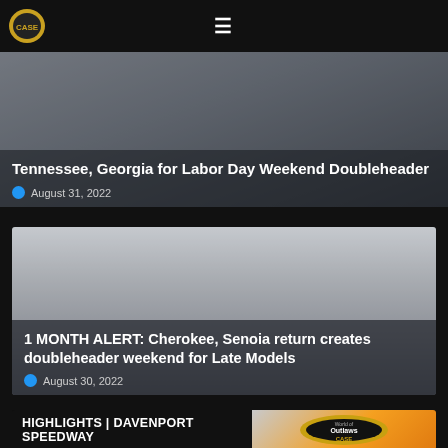CASE Construction Equipment Racing Logo / Hamburger Menu
Tennessee, Georgia for Labor Day Weekend Doubleheader
August 31, 2022
1 MONTH ALERT: Cherokee, Senoia return creates doubleheader weekend for Late Models
August 30, 2022
HIGHLIGHTS | DAVENPORT SPEEDWAY
[Figure (logo): World of Outlaws CASE Construction Equipment logo on orange/yellow background]